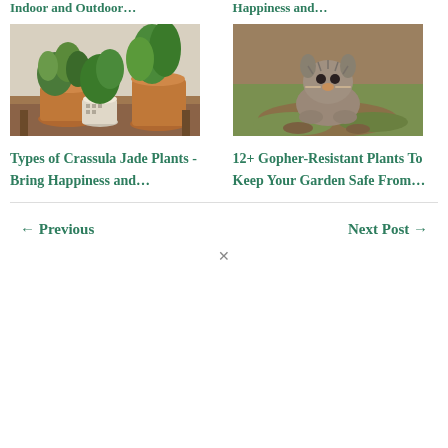Indoor and Outdoor…
Happiness and…
[Figure (photo): Three jade/succulent plants in terracotta and white pots on a wooden table indoors]
[Figure (photo): A gopher sitting on grass, facing camera, close-up wildlife photo]
Types of Crassula Jade Plants - Bring Happiness and…
12+ Gopher-Resistant Plants To Keep Your Garden Safe From…
← Previous
Next Post →